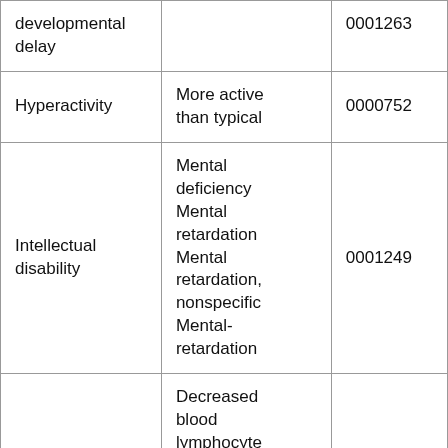| developmental delay |  | 0001263 |
| Hyperactivity | More active than typical | 0000752 |
| Intellectual disability | Mental deficiency
Mental retardation
Mental retardation, nonspecific
Mental-retardation | 0001249 |
|  | Decreased blood lymphocyte |  |